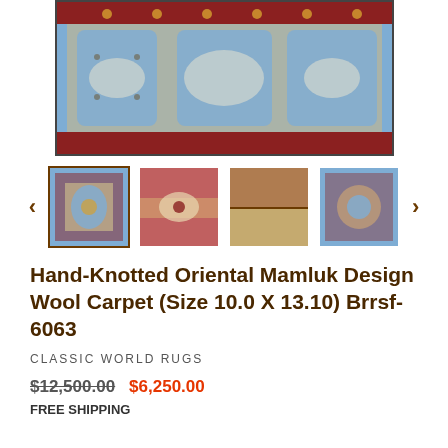[Figure (photo): Main product image of a hand-knotted oriental Mamluk design wool carpet with blue, red, and cream geometric patterns]
[Figure (photo): Thumbnail gallery row with 4 rug thumbnails and left/right navigation arrows. First thumbnail selected with brown border.]
Hand-Knotted Oriental Mamluk Design Wool Carpet (Size 10.0 X 13.10) Brrsf-6063
CLASSIC WORLD RUGS
$12,500.00  $6,250.00
FREE SHIPPING